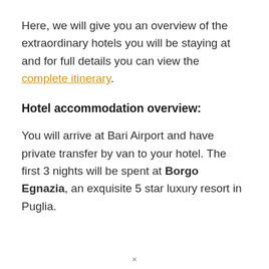Here, we will give you an overview of the extraordinary hotels you will be staying at and for full details you can view the complete itinerary.
Hotel accommodation overview:
You will arrive at Bari Airport and have private transfer by van to your hotel. The first 3 nights will be spent at Borgo Egnazia, an exquisite 5 star luxury resort in Puglia.
×